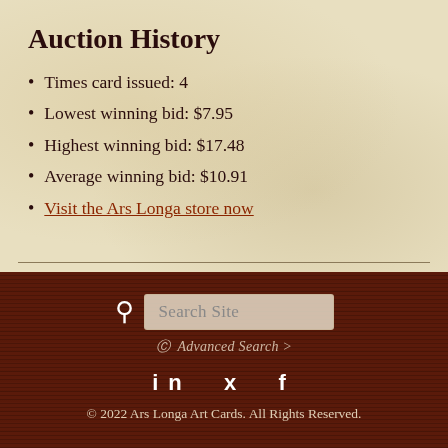Auction History
Times card issued: 4
Lowest winning bid: $7.95
Highest winning bid: $17.48
Average winning bid: $10.91
Visit the Ars Longa store now
Search Site
© Advanced Search >
in 🐦 f
© 2022 Ars Longa Art Cards. All Rights Reserved.